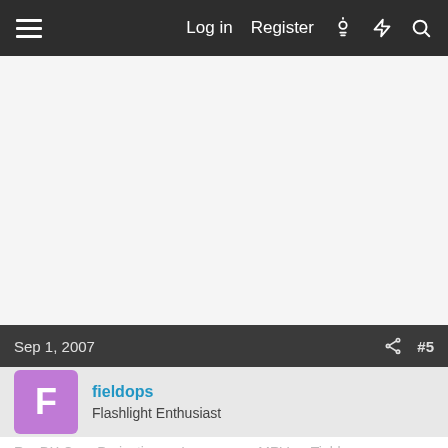Log in  Register
Sep 1, 2007  #5
fieldops
Flashlight Enthusiast
Re: DX Cree Projection vs Lumapower MRV vs Tiablo